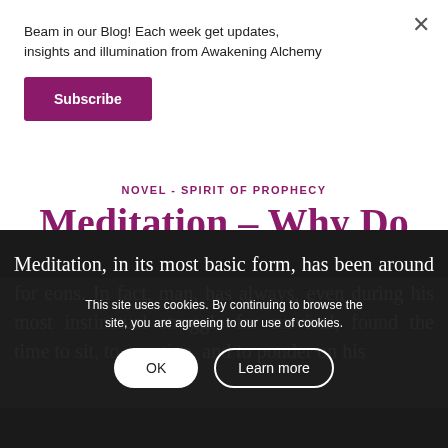Beam in our Blog! Each week get updates, insights and illumination from Awakening Alchemy
Subscribe
NOVEL - SPIRIT OF PROPHECY
Meditation – Why Do It?
Meditation, in its most basic form, has been around for eons. In fact, man, has always, even during his most instinctual struggle for survival, found the time to sit, to question, and to ponder on his
This site uses cookies. By continuing to browse the site, you are agreeing to our use of cookies.
OK
Learn more